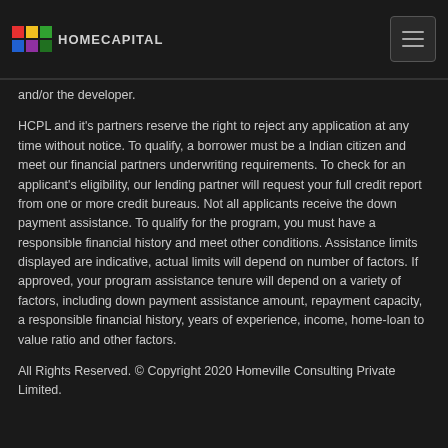HOMECAPITAL
and/or the developer.
HCPL and it's partners reserve the right to reject any application at any time without notice. To qualify, a borrower must be a Indian citizen and meet our financial partners underwriting requirements. To check for an applicant's eligibility, our lending partner will request your full credit report from one or more credit bureaus. Not all applicants receive the down payment assistance. To qualify for the program, you must have a responsible financial history and meet other conditions. Assistance limits displayed are indicative, actual limits will depend on number of factors. If approved, your program assistance tenure will depend on a variety of factors, including down payment assistance amount, repayment capacity, a responsible financial history, years of experience, income, home-loan to value ratio and other factors.
All Rights Reserved. © Copyright 2020 Homeville Consulting Private Limited.